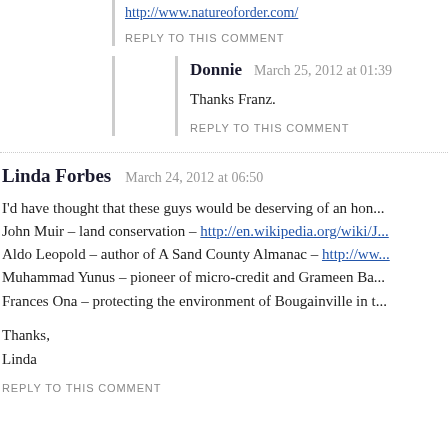http://www.natureoforder.com/
REPLY TO THIS COMMENT
Donnie   March 25, 2012 at 01:39
Thanks Franz.
REPLY TO THIS COMMENT
Linda Forbes   March 24, 2012 at 06:50
I'd have thought that these guys would be deserving of an hon... John Muir – land conservation – http://en.wikipedia.org/wiki/J... Aldo Leopold – author of A Sand County Almanac – http://www... Muhammad Yunus – pioneer of micro-credit and Grameen Ba... Frances Ona – protecting the environment of Bougainville in t...
Thanks,
Linda
REPLY TO THIS COMMENT